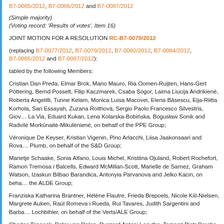B7-0085/2012, B7-0086/2012 and B7-0087/2012
(Simple majority)
(Voting record: 'Results of votes', Item 16)
JOINT MOTION FOR A RESOLUTION RC-B7-0079/2012
(replacing B7-0077/2012, B7-0079/2012, B7-0082/2012, B7-0084/2012, B7-0085/2012 and B7-0087/2012):
tabled by the following Members:
Cristian Dan Preda, Elmar Brok, Mario Mauro, Ria Oomen-Ruijten, Hans-Gert Pöttering, Bernd Posselt, Filip Kaczmarek, Csaba Sógor, Laima Liucija Andrikienė, Roberta Angelilli, Tunne Kelam, Monica Luisa Macovei, Elena Băsescu, Eija-Riitta Korhola, Sari Essayah, Zuzana Roithová, Sergio Paolo Francesco Silvestris, Giovanni La Via, Eduard Kukan, Lena Kolarska-Bobińska, Bogusław Sonik and Radvilė Morkūnaitė-Mikulėnienė, on behalf of the PPE Group;
Véronique De Keyser, Kristian Vigenin, Pino Arlacchi, Liisa Jaakonsaari and Rovana Plumb, on behalf of the S&D Group;
Marietje Schaake, Sonia Alfano, Louis Michel, Kristiina Ojuland, Robert Rochefort, Ramon Tremosa i Balcells, Edward McMillan-Scott, Marielle de Sarnez, Graham Watson, Izaskun Bilbao Barandica, Antonyia Parvanova and Jelko Kacin, on behalf of the ALDE Group;
Franziska Katharina Brantner, Hélène Flautre, Frieda Brepoels, Nicole Kiil-Nielsen, Margrete Auken, Raül Romeva i Rueda, Rui Tavares, Judith Sargentini and Barbara Lochbihler, on behalf of the Verts/ALE Group;
Charles Tannock, Peter van Dalen, Ryszard Antoni Legutko, Tomasz Piotr Poręba, Ryszard Czarnecki, on behalf of the ECR Group;